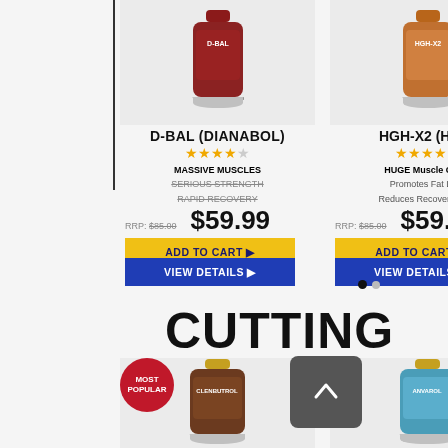[Figure (illustration): D-BAL (Dianabol) supplement bottle, red/brown color]
D-BAL (DIANABOL)
★★★★☆
MASSIVE MUSCLES
SERIOUS STRENGTH
RAPID RECOVERY
RRP: $85.00   $59.99
ADD TO CART ▶
VIEW DETAILS ▶
[Figure (illustration): HGH-X2 (HGH) supplement bottle, orange color]
HGH-X2 (HGH)
★★★★☆
HUGE Muscle Gains
Promotes Fat Loss
Reduces Recovery Time
RRP: $85.00   $59.99
ADD TO CART ▶
VIEW DETAILS ▶
TRENG
RRP: $8
M
In
CUTTING
[Figure (illustration): CLENBUTROL (Clenbuterol) supplement bottle, brown color, with MOST POPULAR badge]
CLENBUTROL
(CLENBUTEROL)
★★★★☆
POWERFUL Fat Burning
Improves Performance
[Figure (illustration): ANVAROL (Anavar) supplement bottle, teal/blue color]
ANVAROL (ANAVAR)
★★★★☆
Promotes FAST Fat Loss
Boosts Energy Levels
WI